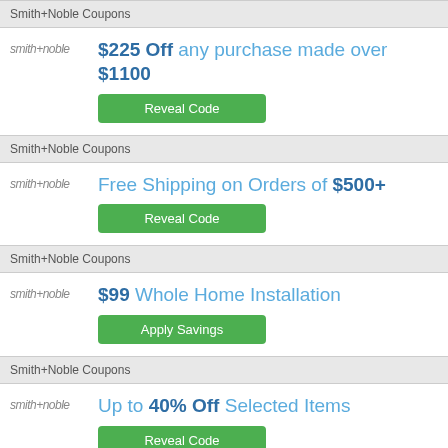Smith+Noble Coupons
smith+noble
$225 Off any purchase made over $1100
Reveal Code
Smith+Noble Coupons
smith+noble
Free Shipping on Orders of $500+
Reveal Code
Smith+Noble Coupons
smith+noble
$99 Whole Home Installation
Apply Savings
Smith+Noble Coupons
smith+noble
Up to 40% Off Selected Items
Reveal Code